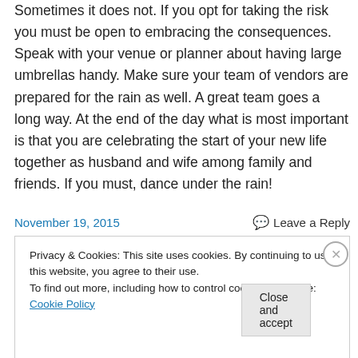Sometimes it does not. If you opt for taking the risk you must be open to embracing the consequences. Speak with your venue or planner about having large umbrellas handy. Make sure your team of vendors are prepared for the rain as well. A great team goes a long way. At the end of the day what is most important is that you are celebrating the start of your new life together as husband and wife among family and friends. If you must, dance under the rain!
November 19, 2015    Leave a Reply
Privacy & Cookies: This site uses cookies. By continuing to use this website, you agree to their use.
To find out more, including how to control cookies, see here: Cookie Policy